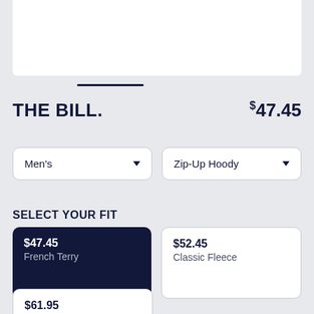[Figure (screenshot): White product image area at the top]
THE BILL.   $47.45
Men's (dropdown)   Zip-Up Hoody (dropdown)
SELECT YOUR FIT
$47.45  French Terry (selected)
$52.45  Classic Fleece
$61.95  Sponge Fleece